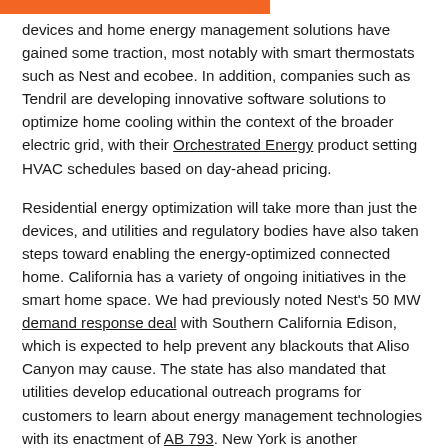devices and home energy management solutions have gained some traction, most notably with smart thermostats such as Nest and ecobee. In addition, companies such as Tendril are developing innovative software solutions to optimize home cooling within the context of the broader electric grid, with their Orchestrated Energy product setting HVAC schedules based on day-ahead pricing.
Residential energy optimization will take more than just the devices, and utilities and regulatory bodies have also taken steps toward enabling the energy-optimized connected home. California has a variety of ongoing initiatives in the smart home space. We had previously noted Nest's 50 MW demand response deal with Southern California Edison, which is expected to help prevent any blackouts that Aliso Canyon may cause. The state has also mandated that utilities develop educational outreach programs for customers to learn about energy management technologies with its enactment of AB 793. New York is another noteworthy state that has begun piloting residential energy programs, such as National